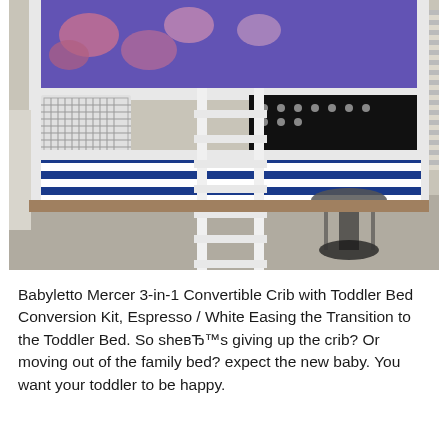[Figure (photo): A children's bunk bed / loft bed setup with white wooden frame, blue and white striped bedding on the lower bunk, floral purple/blue bedding on the upper bunk, a white ladder in the center, black triangle wall decals, a round glass-top side table, and a window with blinds in the background.]
Babyletto Mercer 3-in-1 Convertible Crib with Toddler Bed Conversion Kit, Espresso / White Easing the Transition to the Toddler Bed. So sheвЂ™s giving up the crib? Or moving out of the family bed? expect the new baby. You want your toddler to be happy.